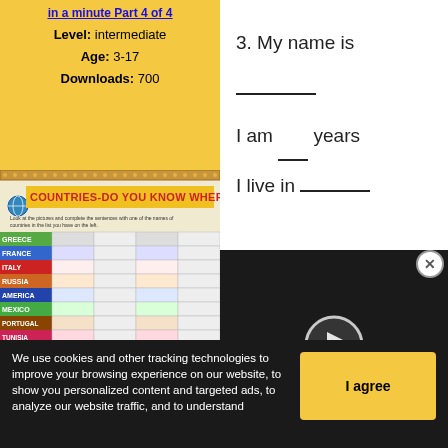in a minute Part 4 of 4
Level: intermediate
Age: 3-17
Downloads: 700
[Figure (illustration): Countries Do You Know Where worksheet thumbnail with colorful country name labels and images]
3. My name is ___
I am ___ years ___
I live in ___
[Figure (screenshot): Video player showing a Mars/planet image with play button]
We use cookies and other tracking technologies to improve your browsing experience on our website, to show you personalized content and targeted ads, to analyze our website traffic, and to understand
I agree